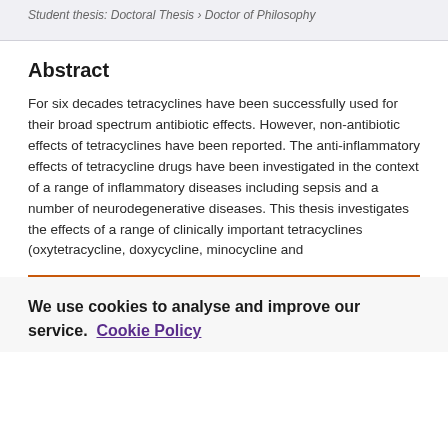Student thesis: Doctoral Thesis › Doctor of Philosophy
Abstract
For six decades tetracyclines have been successfully used for their broad spectrum antibiotic effects. However, non-antibiotic effects of tetracyclines have been reported. The anti-inflammatory effects of tetracycline drugs have been investigated in the context of a range of inflammatory diseases including sepsis and a number of neurodegenerative diseases. This thesis investigates the effects of a range of clinically important tetracyclines (oxytetracycline, doxycycline, minocycline and
We use cookies to analyse and improve our service. Cookie Policy